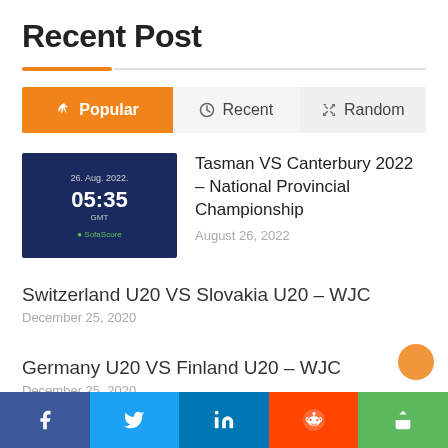Recent Post
Popular | Recent | Random (tabs)
[Figure (screenshot): Scoreboard screenshot showing 26 Aug 2022, 05:35, with dark blue background and SofaScore logo]
Tasman VS Canterbury 2022 – National Provincial Championship
August 26, 2022
Switzerland U20 VS Slovakia U20 – WJC
December 25, 2020
Germany U20 VS Finland U20 – WJC
December 25, 2020
Facebook | Twitter | LinkedIn | Reddit | Share